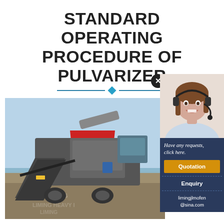STANDARD OPERATING PROCEDURE OF PULVARIZER
[Figure (photo): Industrial pulverizer / mobile crushing machine photographed outdoors at a construction or mining site, showing heavy machinery with conveyors and a red hopper against a light blue sky.]
[Figure (photo): Customer service representative (woman with headset) popup widget with options: 'Have any requests, click here.', Quotation button, Enquiry link, and email limingjlmofen@sina.com]
Have any requests, click here.
Quotation
Enquiry
limingjlmofen@sina.com